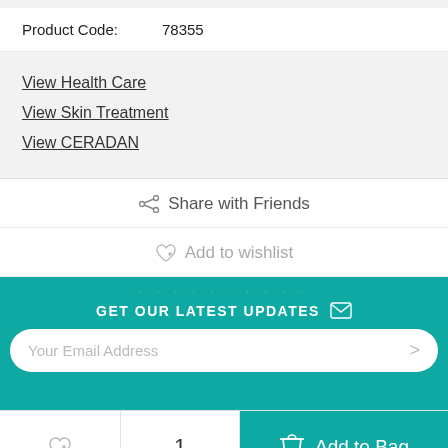Product Code: 78355
View Health Care
View Skin Treatment
View CERADAN
Share with Friends
Add to wishlist
GET OUR LATEST UPDATES
Your Email Address
1
Add to Bag